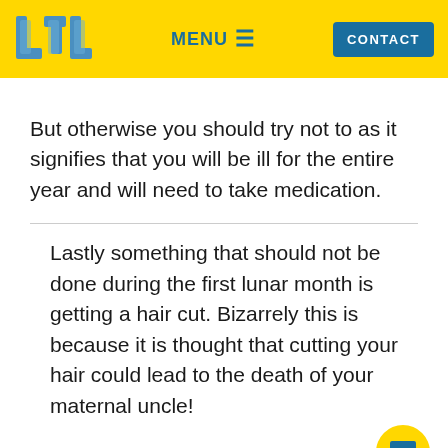LTL  MENU  CONTACT
But otherwise you should try not to as it signifies that you will be ill for the entire year and will need to take medication.
Lastly something that should not be done during the first lunar month is getting a hair cut. Bizarrely this is because it is thought that cutting your hair could lead to the death of your maternal uncle!